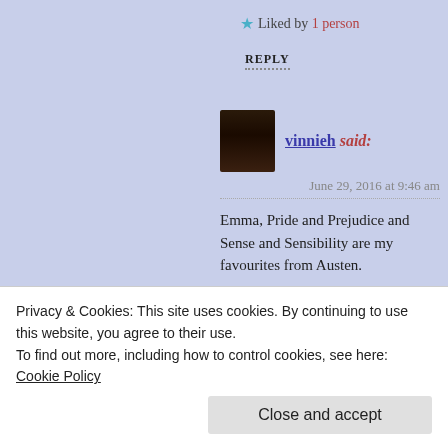★ Liked by 1 person
REPLY
vinnieh said:
June 29, 2016 at 9:46 am
Emma, Pride and Prejudice and Sense and Sensibility are my favourites from Austen.
★ Liked by 1 person
REPLY
Cici said:
Privacy & Cookies: This site uses cookies. By continuing to use this website, you agree to their use.
To find out more, including how to control cookies, see here: Cookie Policy
Close and accept